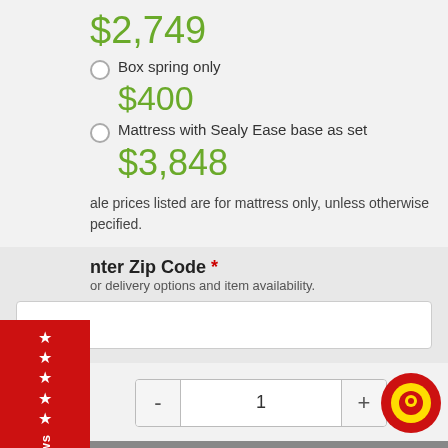$2,749
Box spring only
$400
Mattress with Sealy Ease base as set
$3,848
Sale prices listed are for mattress only, unless otherwise specified.
Enter Zip Code *
for delivery options and item availability.
1
Add to Cart